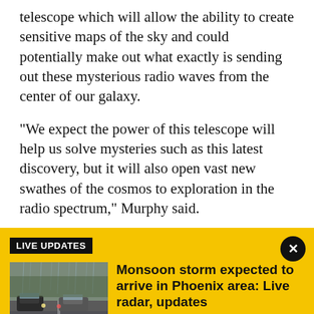telescope which will allow the ability to create sensitive maps of the sky and could potentially make out what exactly is sending out these mysterious radio waves from the center of our galaxy.
"We expect the power of this telescope will help us solve mysteries such as this latest discovery, but it will also open vast new swathes of the cosmos to exploration in the radio spectrum," Murphy said.
LIVE UPDATES
[Figure (photo): Cars driving on a wet road during monsoon rain storm]
Monsoon storm expected to arrive in Phoenix area: Live radar, updates
The Phoenix area is expecting another round of monsoon storms as most of the state is under a flood watch through Saturday night. We have the latest on this round of wet weather.